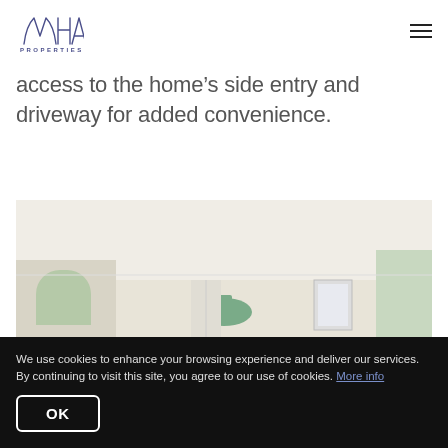MHA Properties
access to the home’s side entry and driveway for added convenience.
[Figure (photo): Interior room photo showing a bright room with arched windows, white ceiling, light walls, and part of a ceiling light fixture]
We use cookies to enhance your browsing experience and deliver our services. By continuing to visit this site, you agree to our use of cookies. More info
OK